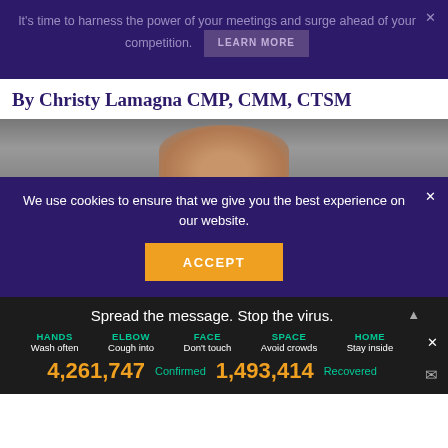It's time to harness the power of your meetings and surge ahead of your competition. LEARN MORE
By Christy Lamagna CMP, CMM, CTSM
[Figure (photo): Partial photo of a person looking upward, gray background]
We use cookies to ensure that we give you the best experience on our website.
ACCEPT
Spread the message. Stop the virus.
HANDS Wash often  ELBOW Cough into  FACE Don't touch  SPACE Avoid crowds  HOME Stay inside
4,261,747  Confirmed  1,493,414  Recovered